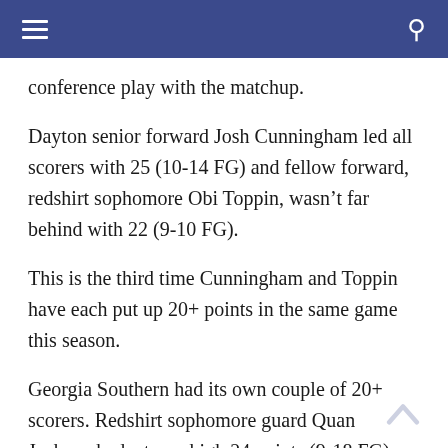navigation bar with hamburger menu and search icon
conference play with the matchup.
Dayton senior forward Josh Cunningham led all scorers with 25 (10-14 FG) and fellow forward, redshirt sophomore Obi Toppin, wasn't far behind with 22 (9-10 FG).
This is the third time Cunningham and Toppin have each put up 20+ points in the same game this season.
Georgia Southern had its own couple of 20+ scorers. Redshirt sophomore guard Quan Jackson had a team-high 24 points (9-18 FG), and senior guard Tookie Brown dropped 20 and six assists.
The game was filled with back and forth scoring and